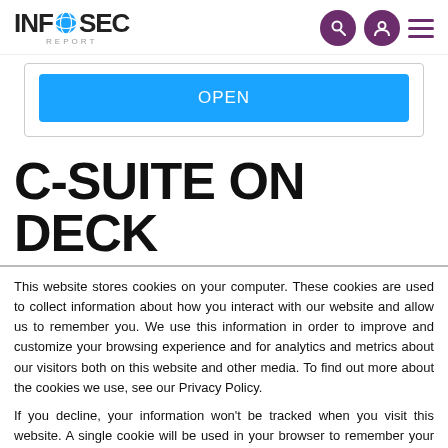INFOSEC REPORT
[Figure (screenshot): Blue OPEN button inside a bordered box]
C-SUITE ON DECK
This website stores cookies on your computer. These cookies are used to collect information about how you interact with our website and allow us to remember you. We use this information in order to improve and customize your browsing experience and for analytics and metrics about our visitors both on this website and other media. To find out more about the cookies we use, see our Privacy Policy.
If you decline, your information won't be tracked when you visit this website. A single cookie will be used in your browser to remember your preference not to be tracked.
Accept   Decline